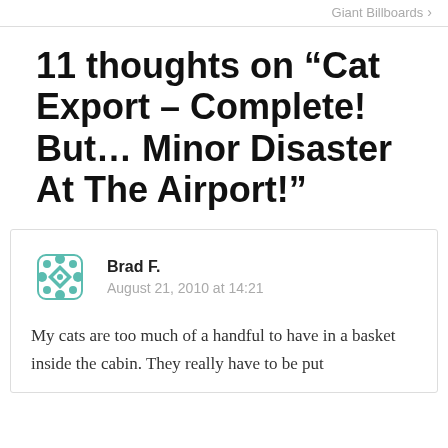Giant Billboards >
11 thoughts on “Cat Export – Complete! But… Minor Disaster At The Airport!”
Brad F.
August 21, 2010 at 14:21

My cats are too much of a handful to have in a basket inside the cabin. They really have to be put